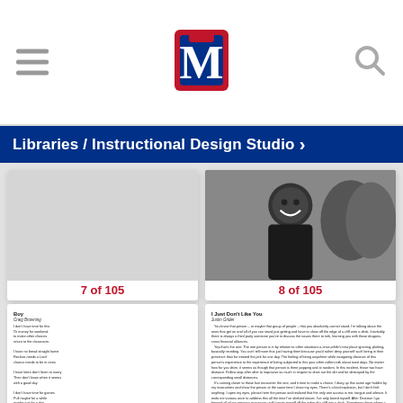[Figure (screenshot): University website navigation bar with hamburger menu on left, stylized M logo in center, and search icon on right]
Libraries / Instructional Design Studio >
[Figure (photo): Page 7 of 105 - blank white page with no visible content]
7 of 105
[Figure (photo): Page 8 of 105 - black and white photo of a smiling person in dark clothing with other people in background]
8 of 105
[Figure (screenshot): Document page with poem titled 'Boy' by Craig Browning with several stanzas]
[Figure (screenshot): Document page with essay titled 'I Just Don't Like You' by Justin Grider, a multi-paragraph personal essay]